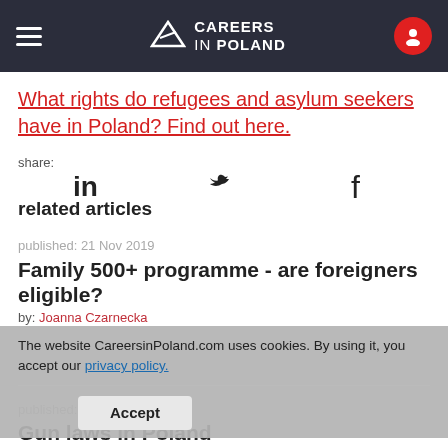Careers in Poland
What rights do refugees and asylum seekers have in Poland? Find out here.
share:
related articles
published: 21 Nov 2019
Family 500+ programme - are foreigners eligible?
by: Joanna Czarnecka
The website CareersinPoland.com uses cookies. By using it, you accept our privacy policy.
Accept
published: 12 Jul 2018
Gun laws in Poland